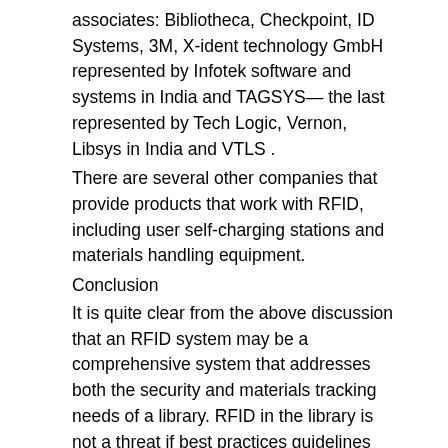associates: Bibliotheca, Checkpoint, ID Systems, 3M, X-ident technology GmbH represented by Infotek software and systems in India and TAGSYS— the last represented by Tech Logic, Vernon, Libsys in India and VTLS .
There are several other companies that provide products that work with RFID, including user self-charging stations and materials handling equipment.
Conclusion
It is quite clear from the above discussion that an RFID system may be a comprehensive system that addresses both the security and materials tracking needs of a library. RFID in the library is not a threat if best practices guidelines followed religiously, that it speeds up book borrowing and inventories and frees staff to do more user-service tasks. The technology saves money too and quickly gives a return on investment.
As far as privacy issue is concerned it is important to